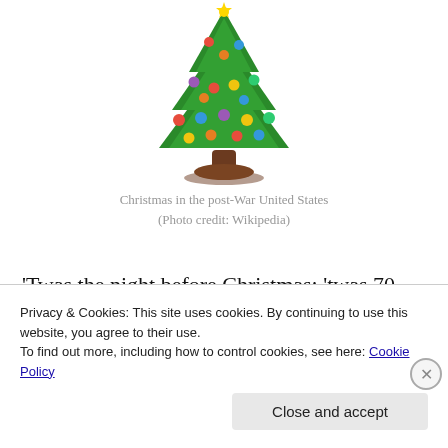[Figure (illustration): Cartoon Christmas tree with colorful ornaments and a brown stand/base, illustrated in a clip-art style.]
Christmas in the post-War United States
(Photo credit: Wikipedia)
'Twas the night before Christmas; 'twas 70 degrees,
And people went round in short sleeves and capris.
Though decked all in holly and bright ribbons fair,
Th...
Privacy & Cookies: This site uses cookies. By continuing to use this website, you agree to their use.
To find out more, including how to control cookies, see here: Cookie Policy